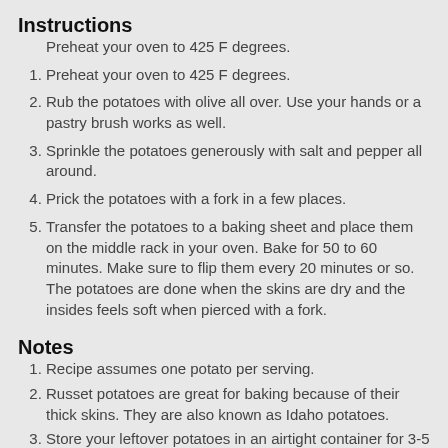Instructions
Preheat your oven to 425 F degrees.
Rub the potatoes with olive all over. Use your hands or a pastry brush works as well.
Sprinkle the potatoes generously with salt and pepper all around.
Prick the potatoes with a fork in a few places.
Transfer the potatoes to a baking sheet and place them on the middle rack in your oven. Bake for 50 to 60 minutes. Make sure to flip them every 20 minutes or so. The potatoes are done when the skins are dry and the insides feels soft when pierced with a fork.
Notes
Recipe assumes one potato per serving.
Russet potatoes are great for baking because of their thick skins. They are also known as Idaho potatoes.
Store your leftover potatoes in an airtight container for 3-5 days in the fridge.
While you can reheat these in the microwave, I would